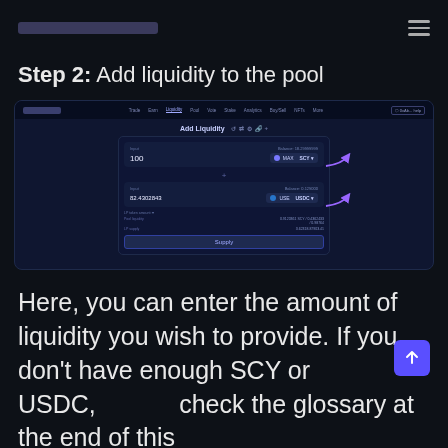[App logo] [hamburger menu]
Step 2: Add liquidity to the pool
[Figure (screenshot): Screenshot of a DeFi application showing the 'Add Liquidity' panel with two token input fields (SCY and USDC/USDC), a Supply button, and purple arrows pointing to the token selectors. Navigation bar at top with menu items including Liquidity highlighted.]
Here, you can enter the amount of liquidity you wish to provide. If you don't have enough SCY or USDC, check the glossary at the end of this